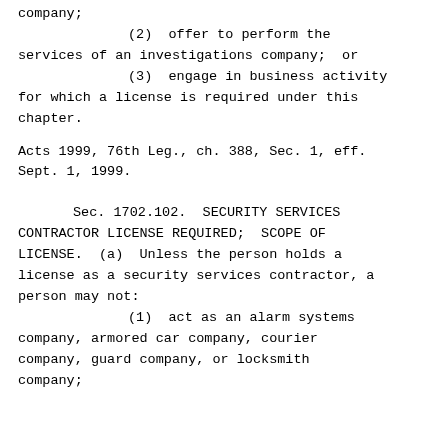company;
(2)  offer to perform the services of an investigations company;  or
(3)  engage in business activity for which a license is required under this chapter.
Acts 1999, 76th Leg., ch. 388, Sec. 1, eff. Sept. 1, 1999.
Sec. 1702.102.  SECURITY SERVICES CONTRACTOR LICENSE REQUIRED;  SCOPE OF LICENSE.  (a)  Unless the person holds a license as a security services contractor, a person may not:
(1)  act as an alarm systems company, armored car company, courier company, guard company, or locksmith company;